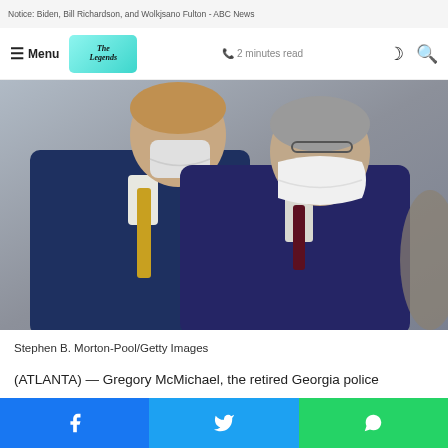Notice: Biden, Bill Richardson, and Michael Fulton - ABC News
Menu | The Legends | 2 minutes read
[Figure (photo): Two men wearing face masks and navy suits standing in a courtroom or official setting. The man in the foreground has gray hair and glasses, wearing a dark suit. The man behind him has lighter brown hair and a gold/yellow tie.]
Stephen B. Morton-Pool/Getty Images
(ATLANTA) — Gregory McMichael, the retired Georgia police